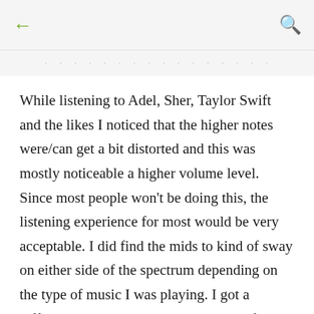← (back) Q (search)
· · · · · · · · · · · · · · · · ·
While listening to Adel, Sher, Taylor Swift and the likes I noticed that the higher notes were/can get a bit distorted and this was mostly noticeable a higher volume level. Since most people won't be doing this, the listening experience for most would be very acceptable. I did find the mids to kind of sway on either side of the spectrum depending on the type of music I was playing. I got a different experience playing a variety of different style and artist and all I can say is that my experience will vary from others while